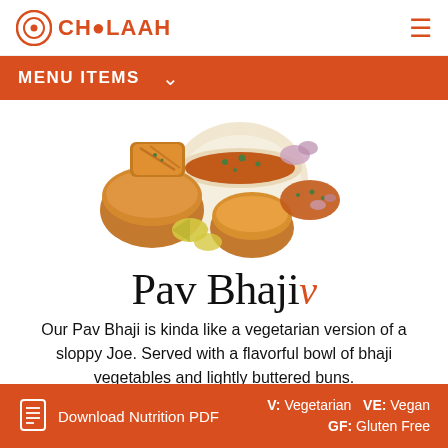CHOOLAAH
MENU ITEMS
[Figure (photo): Overhead photo of Pav Bhaji dish with buns, bowl of bhaji vegetables, garnished with chopped onions and cilantro, with lemon wedges on white background]
Pav Bhaji v
Our Pav Bhaji is kinda like a vegetarian version of a sloppy Joe. Served with a flavorful bowl of bhaji vegetables and lightly buttered buns.
Download Nutrition PDF    V: Vegetarian    VE: Vegan    GF: Gluten Free